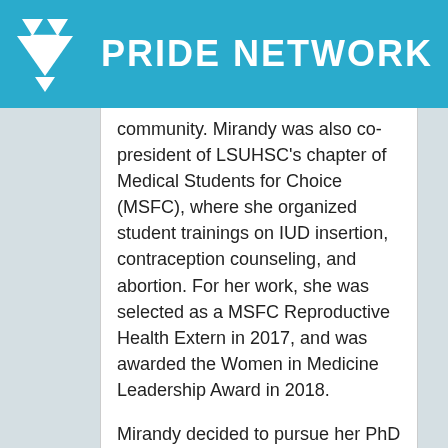PRIDE NETWORK
community. Mirandy was also co-president of LSUHSC's chapter of Medical Students for Choice (MSFC), where she organized student trainings on IUD insertion, contraception counseling, and abortion. For her work, she was selected as a MSFC Reproductive Health Extern in 2017, and was awarded the Women in Medicine Leadership Award in 2018.
Mirandy decided to pursue her PhD in public health, where she could research health disparities that marginalize vulnerable populations. Her dissertation focuses on smoking cessation strategies for LGBTQ populations. After graduating with her MD/PhD, she plans to continue her health disparities research, while also